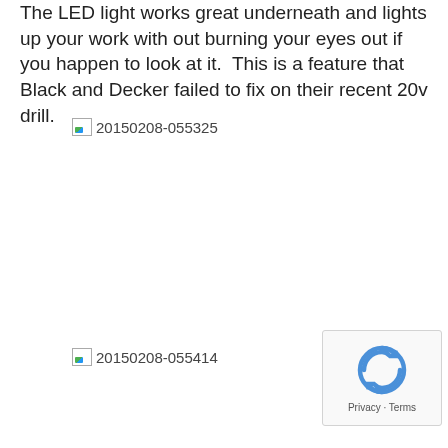The LED light works great underneath and lights up your work with out burning your eyes out if you happen to look at it.  This is a feature that Black and Decker failed to fix on their recent 20v drill.
[Figure (photo): Broken/missing image placeholder labeled 20150208-055325]
[Figure (photo): Broken/missing image placeholder labeled 20150208-055414]